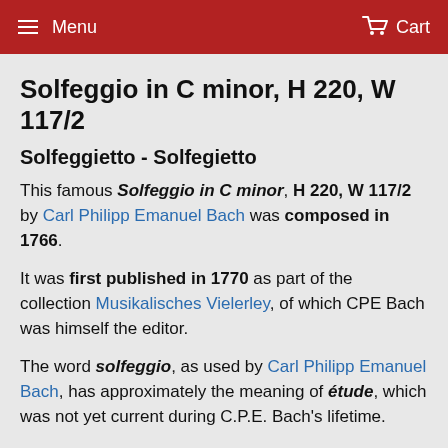Menu  Cart
Solfeggio in C minor, H 220, W 117/2
Solfeggietto - Solfegietto
This famous Solfeggio in C minor, H 220, W 117/2 by Carl Philipp Emanuel Bach was composed in 1766.
It was first published in 1770 as part of the collection Musikalisches Vielerley, of which CPE Bach was himself the editor.
The word solfeggio, as used by Carl Philipp Emanuel Bach, has approximately the meaning of étude, which was not yet current during C.P.E. Bach's lifetime.
CPE Bach's solfeggio aims primarily at developing technical facility and accuracy, and thus serves a pedagogical goal.
This Solfeggio in C minor, H 220, W 117/2 is appropriate for Grade